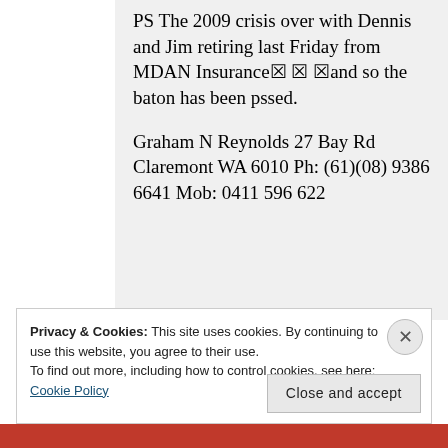PS The 2009 crisis over with Dennis and Jim retiring last Friday from MDAN Insurance☒ ☒ ☒and so the baton has been pssed.

Graham N Reynolds 27 Bay Rd Claremont WA 6010 Ph: (61)(08) 9386 6641 Mob: 0411 596 622
Privacy & Cookies: This site uses cookies. By continuing to use this website, you agree to their use.
To find out more, including how to control cookies, see here: Cookie Policy
Close and accept